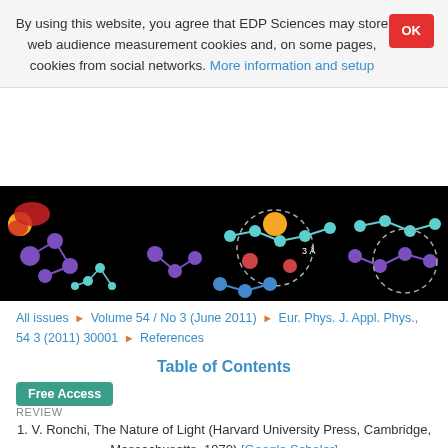By using this website, you agree that EDP Sciences may store web audience measurement cookies and, on some pages, cookies from social networks. More information and setup
[Figure (illustration): Dark banner image showing molecular structure visualization with colored atoms (teal, purple, red, orange) connected by bonds on a black background, with a dashed circle annotation labeled '3 Å']
All issues ▶ Volume 54 / No 3 (June 2011) ▶ Eur. Phys. J. Appl. Phys., 54 3 (2011) 30001 ▶ References
Table of Contents
Free Access
REVIEW
1. V. Ronchi, The Nature of Light (Harvard University Press, Cambridge, Massachusetts, 1970) [Google Scholar]